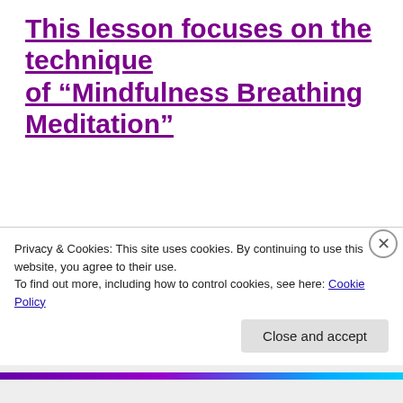This lesson focuses on the technique of “Mindfulness Breathing Meditation”
“If we can pay attention to our breathing, we can pay attention to almost anything.”
Privacy & Cookies: This site uses cookies. By continuing to use this website, you agree to their use.
To find out more, including how to control cookies, see here: Cookie Policy